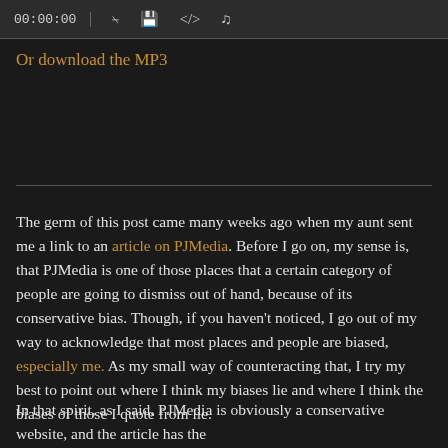[Figure (screenshot): Audio player bar showing timestamp 00:00:00 and media control icons]
Or download the MP3
The germ of this post came many weeks ago when my aunt sent me a link to an article on PJMedia. Before I go on, my sense is, that PJMedia is one of those places that a certain category of people are going to dismiss out of hand, because of its conservative bias. Though, if you haven't noticed, I go out of my way to acknowledge that most places and people are biased, especially me. As my small way of counteracting that, I try my best to point out where I think my biases lie and where I think the biases of those I quote from lie.
In that spirit, as I said, PJMedia is obviously a conservative website, and the article has the